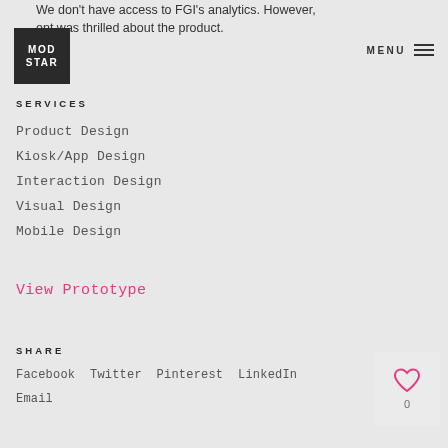We don't have access to FGI's analytics. However, ent was thrilled about the product.
[Figure (logo): MOD STAR logo — white text on dark background square]
MENU
SERVICES
Product Design
Kiosk/App Design
Interaction Design
Visual Design
Mobile Design
View Prototype
SHARE
Facebook  Twitter  Pinterest  LinkedIn
Email
[Figure (illustration): Heart/like icon with count 0]